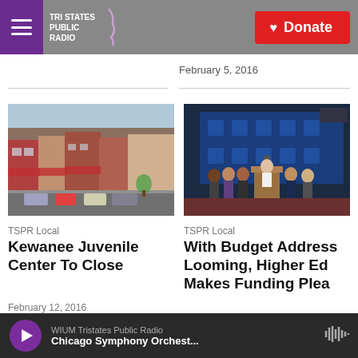Tri States Public Radio — Donate
February 5, 2016
[Figure (photo): Street view of downtown Kewanee with brick storefronts and parked cars]
[Figure (photo): Press conference with several people standing at a podium in front of a blue backdrop]
TSPR Local
Kewanee Juvenile Center To Close
February 12, 2016
TSPR Local
With Budget Address Looming, Higher Ed Makes Funding Plea
WIUM Tristates Public Radio — Chicago Symphony Orchest...